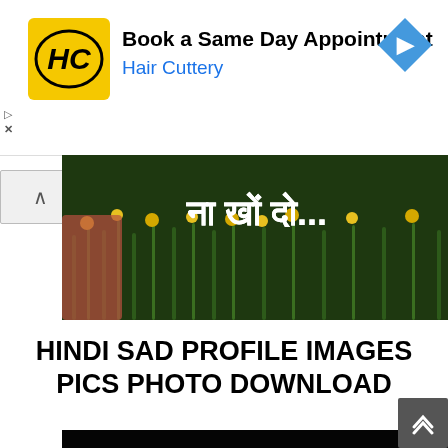[Figure (screenshot): Advertisement banner for Hair Cuttery with yellow HC logo, text 'Book a Same Day Appointment' and blue 'Hair Cuttery' subtext, with blue navigation arrow icon on the right]
[Figure (photo): Photo of green garden/flowers with white Hindi text overlay reading 'ना खों दो...']
HINDI SAD PROFILE IMAGES PICS PHOTO DOWNLOAD
[Figure (photo): Dark/black photo partially visible at bottom of page]